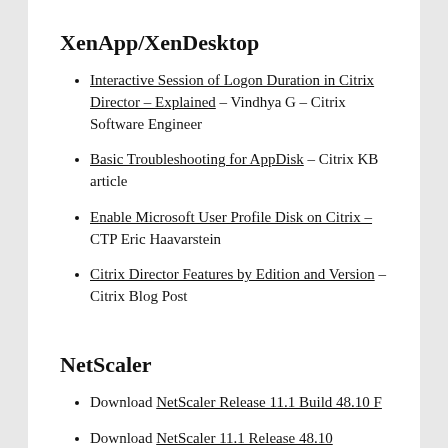XenApp/XenDesktop
Interactive Session of Logon Duration in Citrix Director – Explained – Vindhya G – Citrix Software Engineer
Basic Troubleshooting for AppDisk – Citrix KB article
Enable Microsoft User Profile Disk on Citrix – CTP Eric Haavarstein
Citrix Director Features by Edition and Version – Citrix Blog Post
NetScaler
Download NetScaler Release 11.1 Build 48.10 F
Download NetScaler 11.1 Release 48.10 (cut off)